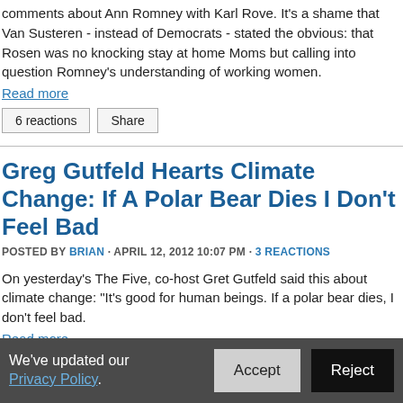comments about Ann Romney with Karl Rove. It's a shame that Van Susteren - instead of Democrats - stated the obvious: that Rosen was not knocking stay at home Moms but calling into question Romney's understanding of working women.
Read more
6 reactions   Share
Greg Gutfeld Hearts Climate Change: If A Polar Bear Dies I Don't Feel Bad
POSTED BY BRIAN · APRIL 12, 2012 10:07 PM · 3 REACTIONS
On yesterday's The Five, co-host Gret Gutfeld said this about climate change: "It's good for human beings. If a polar bear dies, I don't feel bad.
Read more
We've updated our Privacy Policy.   Accept   Reject